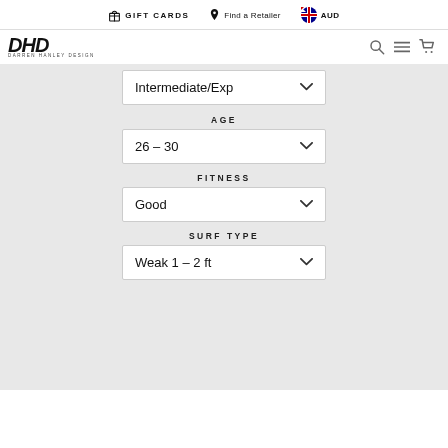GIFT CARDS   Find a Retailer   AUD
[Figure (logo): DHD Darren Hanlon Design surfboard brand logo, bold italic black text]
Intermediate/Exp
AGE
26 – 30
FITNESS
Good
SURF TYPE
Weak 1 – 2 ft